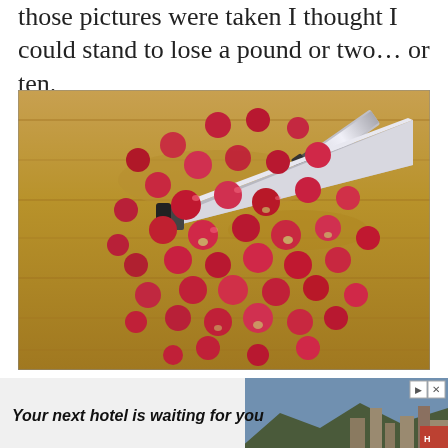those pictures were taken I thought I could stand to lose a pound or two… or ten.
[Figure (photo): Cranberries scattered on a wooden cutting board with a large chef's knife in the upper right corner.]
What if I just stopped? What if I stopped being mad at myself for all
[Figure (photo): Advertisement banner: 'Your next hotel is waiting for you' with a landscape photo of a hotel/resort in the background, and close/skip buttons in the top right corner.]